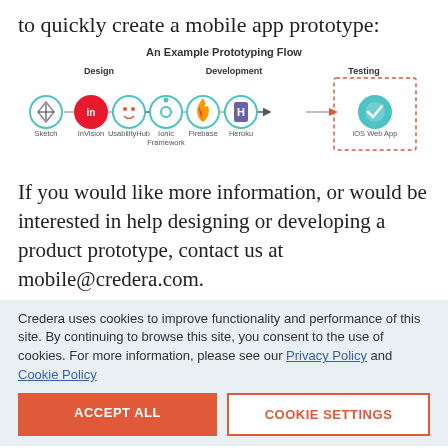to quickly create a mobile app prototype:
An Example Prototyping Flow
[Figure (flowchart): A prototyping flow diagram showing three phases: Design (Sketch, InVision, UsabilityHub), Development (Ionic Framework, Firebase, Heroku), and Testing (iOS Web App). Each tool is represented by a colored circular icon connected by arrows, with the Testing phase enclosed in a red dashed box.]
If you would like more information, or would be interested in help designing or developing a product prototype, contact us at mobile@credera.com.
Credera uses cookies to improve functionality and performance of this site. By continuing to browse this site, you consent to the use of cookies. For more information, please see our Privacy Policy and Cookie Policy
ACCEPT ALL
COOKIE SETTINGS